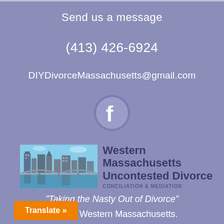Send us a message
(413) 426-6924
DIYDivorceMassachusetts@gmail.com
[Figure (logo): Facebook logo icon — white 'f' on a blue circle]
[Figure (logo): Western Massachusetts Uncontested Divorce logo — cityscape photo on left, text 'Western Massachusetts Uncontested Divorce CONCILIATION & MEDIATION' on right]
“Taking the Nasty Out of Divorce”
Serving Western Massachusetts.
y located in downtown Springfield
Translate »